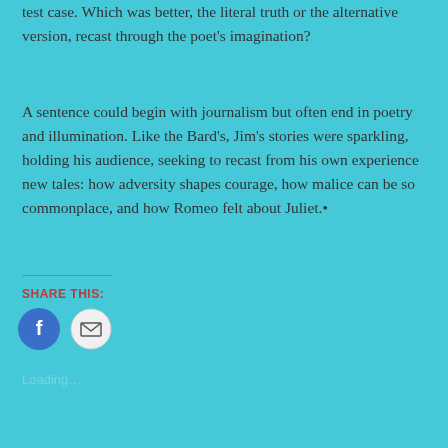test case. Which was better, the literal truth or the alternative version, recast through the poet's imagination?
A sentence could begin with journalism but often end in poetry and illumination. Like the Bard's, Jim's stories were sparkling, holding his audience, seeking to recast from his own experience new tales: how adversity shapes courage, how malice can be so commonplace, and how Romeo felt about Juliet.•
SHARE THIS:
[Figure (infographic): Two social sharing icon buttons: a blue circle with Facebook 'f' logo, and a light grey circle with an envelope/email icon]
Loading…